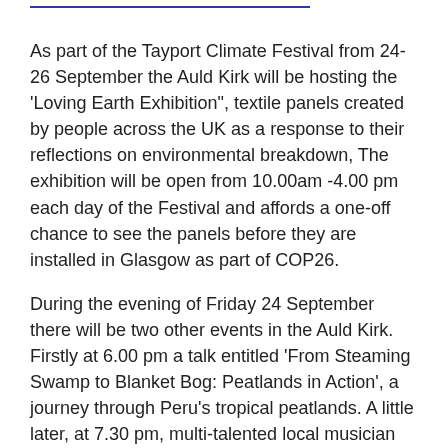As part of the Tayport Climate Festival from 24-26 September the Auld Kirk will be hosting the 'Loving Earth Exhibition", textile panels created by people across the UK as a response to their reflections on environmental breakdown, The exhibition will be open from 10.00am -4.00 pm each day of the Festival and affords a one-off chance to see the panels before they are installed in Glasgow as part of COP26.
During the evening of Friday 24 September there will be two other events in the Auld Kirk. Firstly at 6.00 pm a talk entitled 'From Steaming Swamp to Blanket Bog: Peatlands in Action', a journey through Peru's tropical peatlands. A little later, at 7.30 pm, multi-talented local musician Elisabeth Flett will give a solo performance, playing her fiddle and singing.
On Sunday 26 September the film Anote's Ark will be shown in the Auld Kirk as the closing event of the Climate Festival. What if your country was swallowed by the sea? This is the reality facing the small island nation of Kiribati. Doors open at 6.00 pm for a 6.30 pm